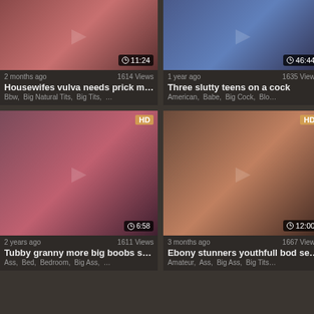[Figure (screenshot): Video thumbnail top-left: duration 11:24]
2 months ago   1614 Views
Housewifes vulva needs prick m…
Bbw,  Big Natural Tits,  Big Tits,  …
[Figure (screenshot): Video thumbnail top-right: duration 46:44]
1 year ago   1635 Views
Three slutty teens on a cock
American,  Babe,  Big Cock,  Blo…
[Figure (screenshot): Video thumbnail bottom-left HD: duration 6:58]
2 years ago   1611 Views
Tubby granny more big boobs s…
Ass,  Bed,  Bedroom,  Big Ass,  …
[Figure (screenshot): Video thumbnail bottom-right HD: duration 12:00]
3 months ago   1667 Views
Ebony stunners youthfull bod se…
Amateur,  Ass,  Big Ass,  Big Tits…